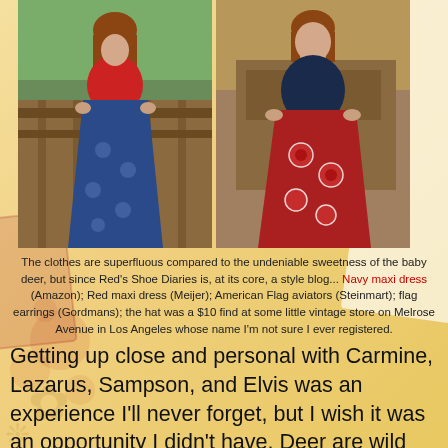[Figure (photo): Two side-by-side photos of a woman wearing maxi dresses. Left photo: woman in red tied cardigan over a blue/navy floral maxi dress, standing outdoors on a wooden deck. Right photo: same woman in a navy cardigan over a red floral/bandana-print maxi dress, seated indoors.]
The clothes are superfluous compared to the undeniable sweetness of the baby deer, but since Red's Shoe Diaries is, at its core, a style blog... Navy maxi dress (Amazon); Red maxi dress (Meijer); American Flag aviators (Steinmart); flag earrings (Gordmans); the hat was a $10 find at some little vintage store on Melrose Avenue in Los Angeles whose name I'm not sure I ever registered.
Getting up close and personal with Carmine, Lazarus, Sampson, and Elvis was an experience I'll never forget, but I wish it was an opportunity I didn't have. Deer are wild animals. They are not pets (however sweet and cuddly they may be). These little